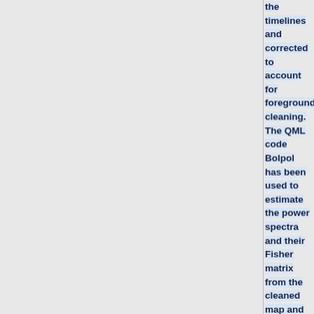the timelines and corrected to account for foreground cleaning. The QML code Bolpol has been used to estimate the power spectra and their Fisher matrix from the cleaned map and covariance matrix, after imposing a Galactic mask that makes 43% of the full sky available to analysis (see again {{PlanckPapers|